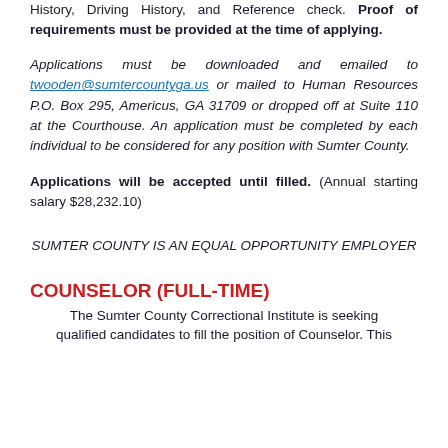History, Driving History, and Reference check. Proof of requirements must be provided at the time of applying.
Applications must be downloaded and emailed to twooden@sumtercountyga.us or mailed to Human Resources P.O. Box 295, Americus, GA 31709 or dropped off at Suite 110 at the Courthouse. An application must be completed by each individual to be considered for any position with Sumter County.
Applications will be accepted until filled. (Annual starting salary $28,232.10)
SUMTER COUNTY IS AN EQUAL OPPORTUNITY EMPLOYER
COUNSELOR (FULL-TIME)
The Sumter County Correctional Institute is seeking qualified candidates to fill the position of Counselor. This